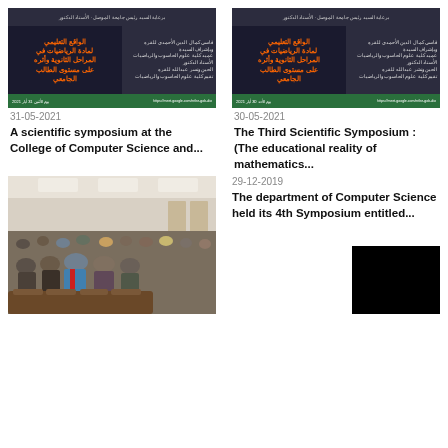[Figure (illustration): Arabic language symposium poster with orange and green text on dark background - top left]
31-05-2021
A scientific symposium at the College of Computer Science and...
[Figure (illustration): Arabic language symposium poster with orange and green text on dark background - top right]
30-05-2021
The Third Scientific Symposium : (The educational reality of mathematics...
[Figure (photo): Conference room photo showing audience seated in rows, several officials in front row in suits]
29-12-2019
The department of Computer Science held its 4th Symposium entitled...